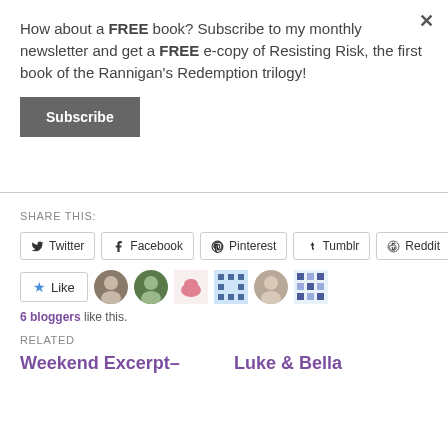How about a FREE book? Subscribe to my monthly newsletter and get a FREE e-copy of Resisting Risk, the first book of the Rannigan's Redemption trilogy!
Subscribe
SHARE THIS:
Twitter | Facebook | Pinterest | Tumblr | Reddit
6 bloggers like this.
RELATED
Weekend Excerpt–
Luke & Bella